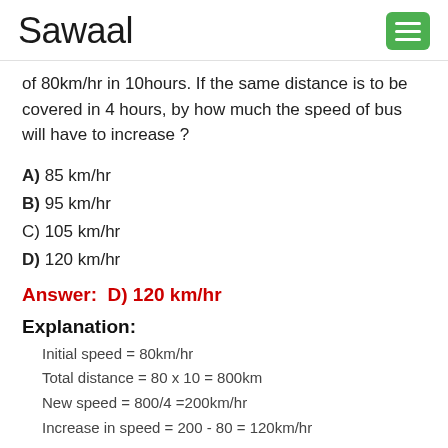Sawaal
of 80km/hr in 10hours. If the same distance is to be covered in 4 hours, by how much the speed of bus will have to increase ?
A) 85 km/hr
B) 95 km/hr
C) 105 km/hr
D) 120 km/hr
Answer:  D) 120 km/hr
Explanation:
Initial speed = 80km/hr
Total distance = 80 x 10 = 800km
New speed = 800/4 =200km/hr
Increase in speed = 200 - 80 = 120km/hr